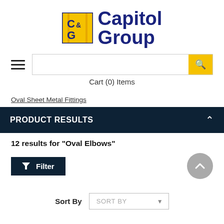[Figure (logo): Capitol Group logo with yellow-and-navy C&G icon and bold navy 'Capitol Group' text]
Cart (0) Items
Oval Sheet Metal Fittings
PRODUCT RESULTS
12 results for "Oval Elbows"
Filter
Sort By SORT BY